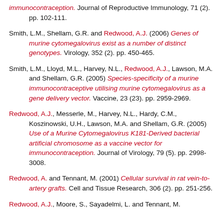immunocontraception. Journal of Reproductive Immunology, 71 (2). pp. 102-111.
Smith, L.M., Shellam, G.R. and Redwood, A.J. (2006) Genes of murine cytomegalovirus exist as a number of distinct genotypes. Virology, 352 (2). pp. 450-465.
Smith, L.M., Lloyd, M.L., Harvey, N.L., Redwood, A.J., Lawson, M.A. and Shellam, G.R. (2005) Species-specificity of a murine immunocontraceptive utilising murine cytomegalovirus as a gene delivery vector. Vaccine, 23 (23). pp. 2959-2969.
Redwood, A.J., Messerle, M., Harvey, N.L., Hardy, C.M., Koszinowski, U.H., Lawson, M.A. and Shellam, G.R. (2005) Use of a Murine Cytomegalovirus K181-Derived bacterial artificial chromosome as a vaccine vector for immunocontraception. Journal of Virology, 79 (5). pp. 2998-3008.
Redwood, A. and Tennant, M. (2001) Cellular survival in rat vein-to-artery grafts. Cell and Tissue Research, 306 (2). pp. 251-256.
Redwood, A.J., Moore, S., Sayadelmi, L. and Tennant, M.